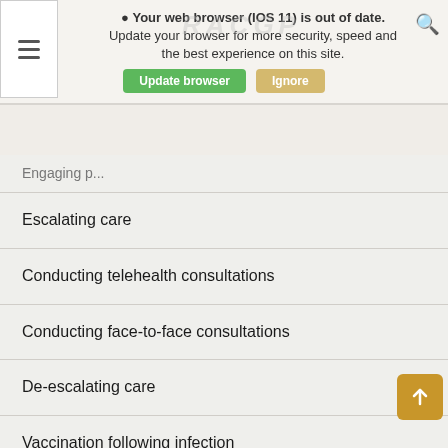Your web browser (IOS 11) is out of date. Update your browser for more security, speed and the best experience on this site. [Update browser] [Ignore]
Escalating care
Conducting telehealth consultations
Conducting face-to-face consultations
De-escalating care
Vaccination following infection
Handover to a patient's usual GP
General advice for the care of pregnant or breastfeeding patients
General advice for the care of children with COVID-19